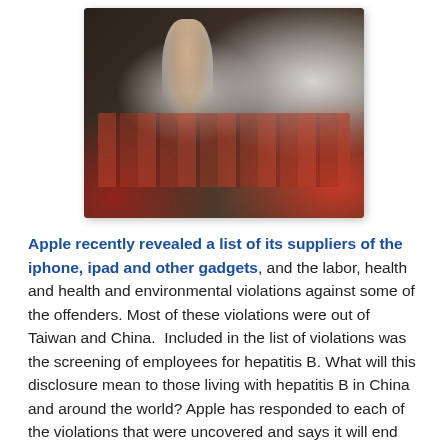[Figure (photo): Factory workers in white uniforms and caps working at an assembly line, with red and colorful components visible on the line. The image appears to show a Chinese manufacturing facility.]
Apple recently revealed a list of its suppliers of the iphone, ipad and other gadgets, and the labor, health and health and environmental violations against some of the offenders. Most of these violations were out of Taiwan and China.  Included in the list of violations was the screening of employees for hepatitis B. What will this disclosure mean to those living with hepatitis B in China and around the world? Apple has responded to each of the violations that were uncovered and says it will end relationships with repeat offenders. Will this stop discrimination against